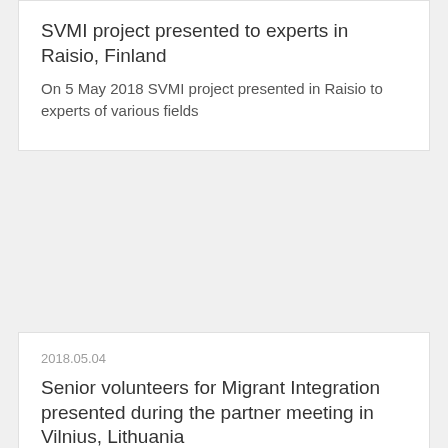SVMI project presented to experts in Raisio, Finland
On 5 May 2018 SVMI project presented in Raisio to experts of various fields
2018.05.04
Senior volunteers for Migrant Integration presented during the partner meeting in Vilnius, Lithuania
On 3-4 May 2018 the 2nd partner meeting of Erasmus+ project Parents for All was organized in Vilnius, the capital